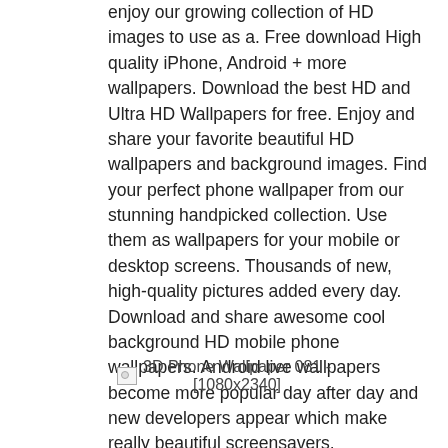enjoy our growing collection of HD images to use as a. Free download High quality iPhone, Android + more wallpapers. Download the best HD and Ultra HD Wallpapers for free. Enjoy and share your favorite beautiful HD wallpapers and background images. Find your perfect phone wallpaper from our stunning handpicked collection. Use them as wallpapers for your mobile or desktop screens. Thousands of new, high-quality pictures added every day. Download and share awesome cool background HD mobile phone wallpapers. Android live wallpapers become more popular day after day and new developers appear which make really beautiful screensavers.
[Figure (photo): Broken image placeholder for '3D Phone Wallpaper 081 - [1080x2340]']
3D Phone Wallpaper 081 - [1080x2340]